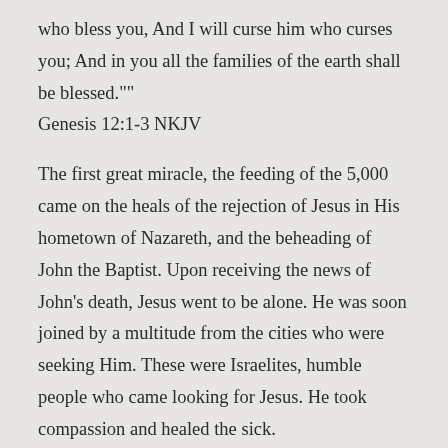who bless you, And I will curse him who curses you; And in you all the families of the earth shall be blessed.""
Genesis 12:1-3 NKJV
The first great miracle, the feeding of the 5,000 came on the heals of the rejection of Jesus in His hometown of Nazareth, and the beheading of John the Baptist. Upon receiving the news of John’s death, Jesus went to be alone. He was soon joined by a multitude from the cities who were seeking Him. These were Israelites, humble people who came looking for Jesus. He took compassion and healed the sick.
After feeding them, there were twelve baskets of leftovers, symbolizing the sufficiency of the Gospel to